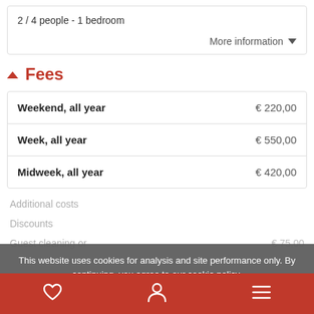2 / 4 people - 1 bedroom
More information ▾
Fees
|  |  |
| --- | --- |
| Weekend, all year | € 220,00 |
| Week, all year | € 550,00 |
| Midweek, all year | € 420,00 |
This website uses cookies for analysis and site performance only. By continuing, you agree to our cookie policy.
OK